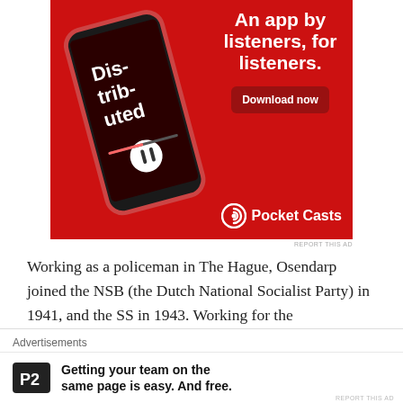[Figure (illustration): Pocket Casts advertisement banner with red background. Shows a smartphone with 'Dis-trib-uted' podcast playing. Text reads 'An app by listeners, for listeners.' with a 'Download now' button and the Pocket Casts logo.]
REPORT THIS AD
Working as a policeman in The Hague, Osendarp joined the NSB (the Dutch National Socialist Party) in 1941, and the SS in 1943. Working for the Sicherheitsdienst (SD), he was involved with arrests of various resistance fighters. and helping in the deportation of Dutch Jews. The
Advertisements
[Figure (illustration): P2 advertisement. P2 logo (square with H pattern) followed by text: 'Getting your team on the same page is easy. And free.']
REPORT THIS AD